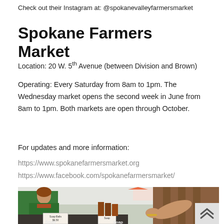Check out their Instagram at: @spokanevalleyfarmersmarket
Spokane Farmers Market
Location: 20 W. 5th Avenue (between Division and Brown)
Operating: Every Saturday from 8am to 1pm. The Wednesday market opens the second week in June from 8am to 1pm. Both markets are open through October.
For updates and more information:
https://www.spokanefarmersmarket.org
https://www.facebook.com/spokanefarmersmarket/
[Figure (photo): Outdoor farmers market scene showing a vendor woman in green shirt behind a table with soap products including signs reading 'Soap Balls $6.50' and 'Soap', with a customer reaching across the table, white tent canopies and trees in background]